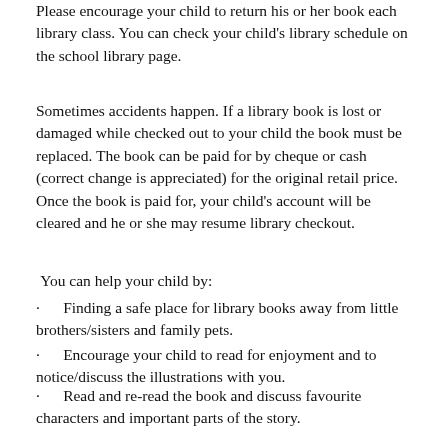Please encourage your child to return his or her book each library class. You can check your child's library schedule on the school library page.
Sometimes accidents happen. If a library book is lost or damaged while checked out to your child the book must be replaced. The book can be paid for by cheque or cash (correct change is appreciated) for the original retail price. Once the book is paid for, your child's account will be cleared and he or she may resume library checkout.
You can help your child by:
Finding a safe place for library books away from little brothers/sisters and family pets.
Encourage your child to read for enjoyment and to notice/discuss the illustrations with you.
Read and re-read the book and discuss favourite characters and important parts of the story.
All library books will be set aside for 3 days on return for safety. In the library students will be practicing social distancing. We are looking